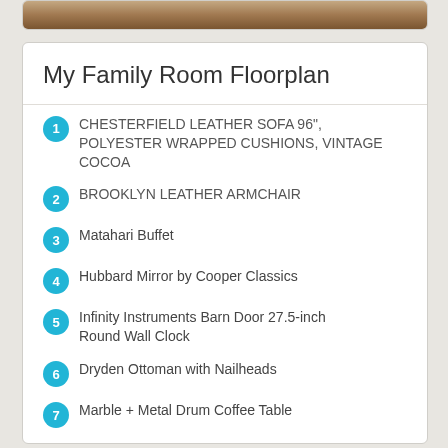[Figure (photo): Partial view of a room scene with leather furniture, tan/brown tones]
My Family Room Floorplan
1 CHESTERFIELD LEATHER SOFA 96", POLYESTER WRAPPED CUSHIONS, VINTAGE COCOA
2 BROOKLYN LEATHER ARMCHAIR
3 Matahari Buffet
4 Hubbard Mirror by Cooper Classics
5 Infinity Instruments Barn Door 27.5-inch Round Wall Clock
6 Dryden Ottoman with Nailheads
7 Marble + Metal Drum Coffee Table
8 Avenue Brass Table Lamp with USB Port
9 SHELL APPLIQUE PILLOW COVER